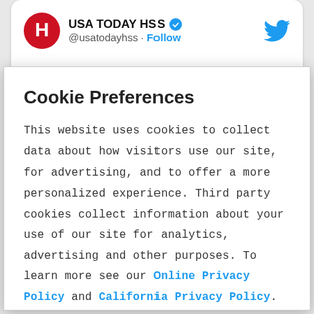[Figure (screenshot): Twitter/X profile card showing USA TODAY HSS account with red circular logo, verified badge, @usatodayhss handle, Follow link, and Twitter bird icon]
Cookie Preferences
This website uses cookies to collect data about how visitors use our site, for advertising, and to offer a more personalized experience. Third party cookies collect information about your use of our site for analytics, advertising and other purposes. To learn more see our Online Privacy Policy and California Privacy Policy.
Manage Cookies | Accept